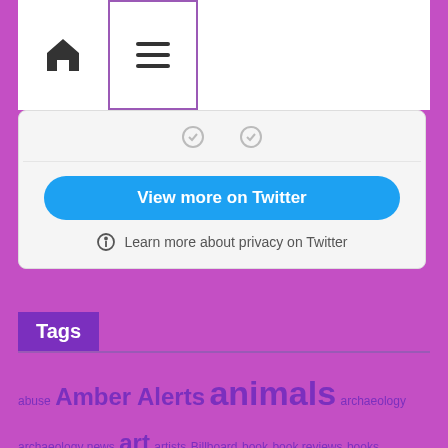[Figure (screenshot): Website navigation bar with home icon and hamburger menu button]
[Figure (screenshot): Twitter embedded widget with View more on Twitter button and privacy notice]
Tags
abuse Amber Alerts animals archaeology archaeology news art artists Billboard book book reviews books cams celebrities cookbooks COVID Covid 19 Cults Cults News entertainment Florida Hypermobile Ehlers Danlos Syndrome kidnapped live cams Music nature